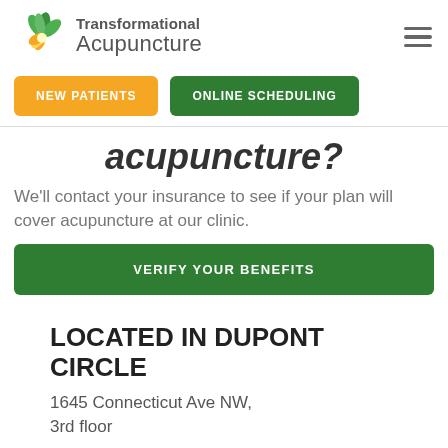[Figure (logo): Transformational Acupuncture logo with green and orange flower/leaf icon and text 'Transformational Acupuncture']
NEW PATIENTS
ONLINE SCHEDULING
acupuncture?
We'll contact your insurance to see if your plan will cover acupuncture at our clinic.
VERIFY YOUR BENEFITS
LOCATED IN DUPONT CIRCLE
1645 Connecticut Ave NW, 3rd floor